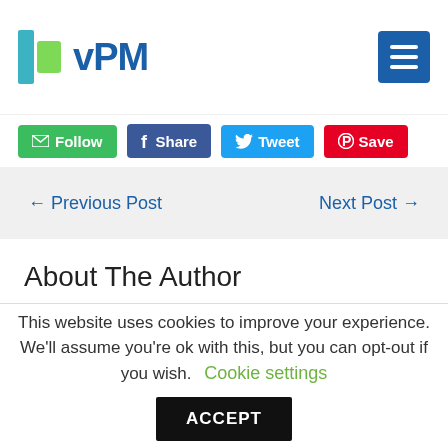[Figure (logo): vPM logo with blue and green bars and blue text]
[Figure (screenshot): Social action buttons: Follow (green), Share (Facebook blue), Tweet (Twitter blue), Save (Pinterest red)]
← Previous Post
Next Post →
About The Author
[Figure (photo): Headshot of a man with dark hair, cropped at the eyes/forehead level]
This website uses cookies to improve your experience. We'll assume you're ok with this, but you can opt-out if you wish. Cookie settings ACCEPT